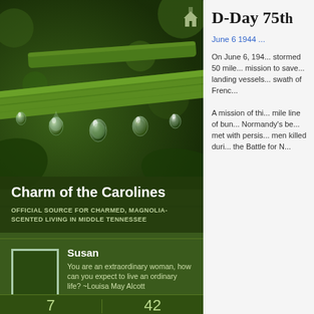[Figure (photo): Close-up macro photo of green plant stems with water droplets/dew drops hanging from them against a dark green bokeh background]
Charm of the Carolines
OFFICIAL SOURCE FOR CHARMED, MAGNOLIA-SCENTED LIVING IN MIDDLE TENNESSEE
[Figure (photo): Small square avatar placeholder image, outlined with light green border]
Susan
You are an extraordinary woman, how can you expect to live an ordinary life? ~Louisa May Alcott
7 FOLLOWING   42 FOLLOWERS
D-Day 75t
June 6 1944 [link]
On June 6, 194... stormed 50 mile... mission to save... landing vessels... swath of Frenc...
A mission of thi... mile line of bun... Normandy's be... met with persis... men killed duri... the Battle for N...